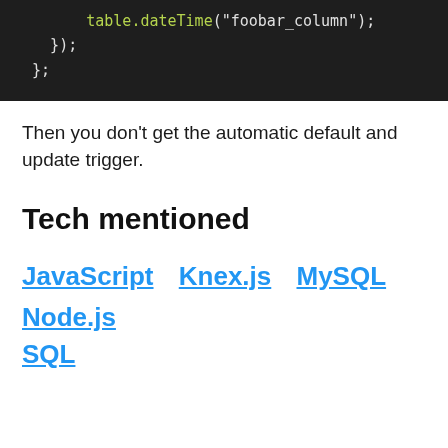[Figure (screenshot): Dark-themed code editor screenshot showing lines: '    table.dateTime("foobar_column");', '  });', '};']
Then you don't get the automatic default and update trigger.
Tech mentioned
JavaScript  Knex.js  MySQL  Node.js
SQL